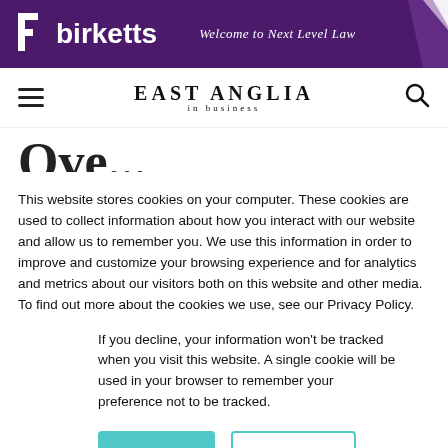[Figure (logo): Birketts law firm banner with purple background, white logo and text 'Welcome to Next Level Law']
EAST ANGLIA in business — navigation header with hamburger menu and search icon
Ove... (partially visible article title)
This website stores cookies on your computer. These cookies are used to collect information about how you interact with our website and allow us to remember you. We use this information in order to improve and customize your browsing experience and for analytics and metrics about our visitors both on this website and other media. To find out more about the cookies we use, see our Privacy Policy.
If you decline, your information won't be tracked when you visit this website. A single cookie will be used in your browser to remember your preference not to be tracked.